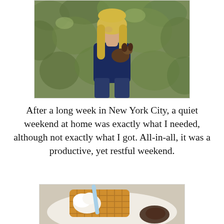[Figure (photo): A woman with long blonde hair, wearing a navy blue top and dark jeans, holding a small dog, standing in front of a lush green hedge/bush backdrop. Outdoor, sunny setting.]
After a long week in New York City, a quiet weekend at home was exactly what I needed, although not exactly what I got. All-in-all, it was a productive, yet restful weekend.
[Figure (photo): A close-up photo of a waffle with whipped cream on a white plate, with a straw and what appears to be a dark sauce or syrup visible.]